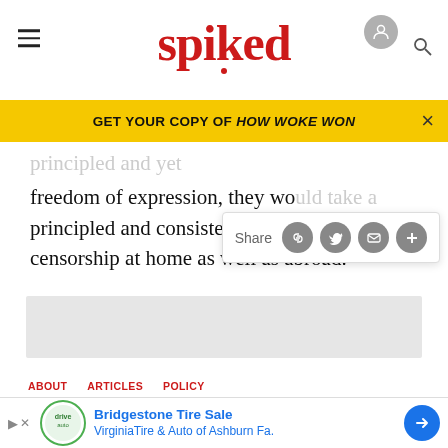spiked
GET YOUR COPY OF HOW WOKE WON
freedom of expression, they wo... principled and consistent stand against censorship at home as well as abroad.
[Figure (screenshot): Share popup with social media buttons (Facebook, Twitter, Email, Plus)]
[Figure (other): Grey advertisement placeholder box]
Sadhvi Sharma has a PhD in International Political Economy from the Princeton School of International...
ABOUT
[Figure (other): Bridgestone Tire Sale - VirginiaTire & Auto of Ashburn Fa. advertisement banner]